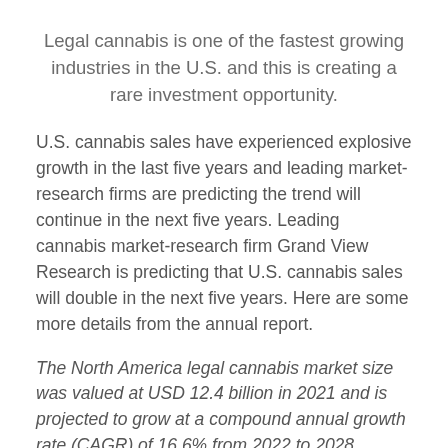Legal cannabis is one of the fastest growing industries in the U.S. and this is creating a rare investment opportunity.
U.S. cannabis sales have experienced explosive growth in the last five years and leading market-research firms are predicting the trend will continue in the next five years. Leading cannabis market-research firm Grand View Research is predicting that U.S. cannabis sales will double in the next five years. Here are some more details from the annual report.
The North America legal cannabis market size was valued at USD 12.4 billion in 2021 and is projected to grow at a compound annual growth rate (CAGR) of 16.6% from 2022 to 2028. Growing